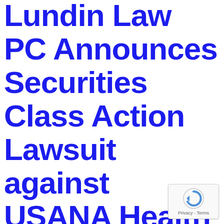INVESTOR ALERT: Lundin Law PC Announces Securities Class Action Lawsuit against USANA Health Sciences, Inc. and Reminds Investors with
[Figure (logo): Google reCAPTCHA badge with circular arrow icon and 'Privacy - Terms' text]